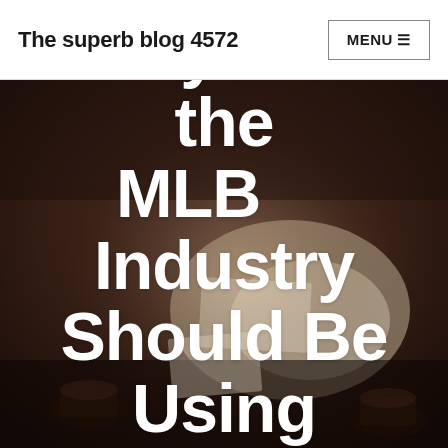The superb blog 4572
[Figure (photo): Dark background photo of a coffee shop / workplace scene with notebooks, coffee cups, and hands, used as hero image behind article title]
5 Tools Everyone in the MLB Industry Should Be Using